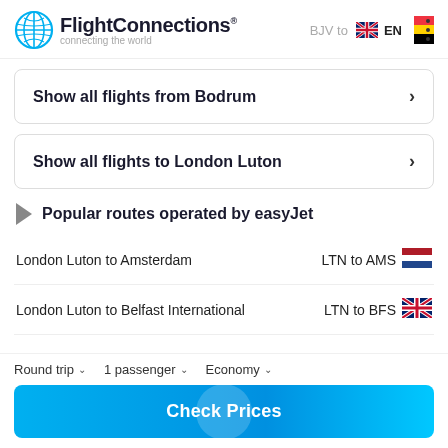FlightConnections® BJV to EN
Show all flights from Bodrum >
Show all flights to London Luton >
Popular routes operated by easyJet
| Route | Code | Flag |
| --- | --- | --- |
| London Luton to Amsterdam | LTN to AMS | 🇳🇱 |
| London Luton to Belfast International | LTN to BFS | 🇬🇧 |
Round trip ∨   1 passenger ∨   Economy ∨
Check Prices